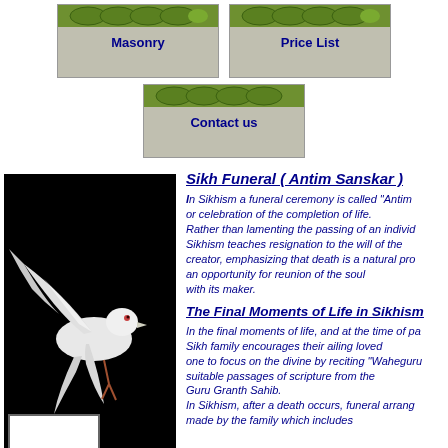[Figure (screenshot): Navigation button: Masonry with green leaf bar on top]
[Figure (screenshot): Navigation button: Price List with green leaf bar on top]
[Figure (screenshot): Navigation button: Contact us with green leaf bar on top]
[Figure (photo): White dove in flight against black background]
Sikh Funeral ( Antim Sanskar )
In Sikhism a funeral ceremony is called "Antim or celebration of the completion of life. Rather than lamenting the passing of an individual Sikhism teaches resignation to the will of the creator, emphasizing that death is a natural process an opportunity for reunion of the soul with its maker.
The Final Moments of Life in Sikhism
In the final moments of life, and at the time of passing, a Sikh family encourages their ailing loved one to focus on the divine by reciting "Waheguru" or suitable passages of scripture from the Guru Granth Sahib. In Sikhism, after a death occurs, funeral arrangements are made by the family which includes